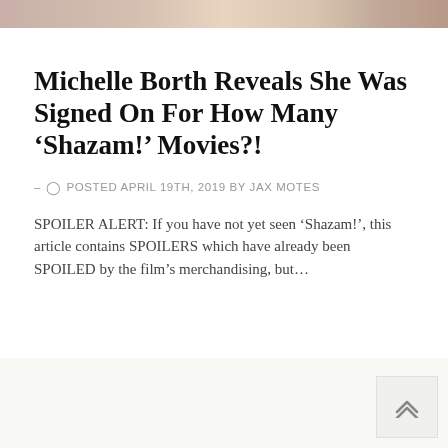[Figure (photo): Top portion of a photo showing people, cropped at the top of the page]
Michelle Borth Reveals She Was Signed On For How Many ‘Shazam!’ Movies?!
- ○ POSTED APRIL 19TH, 2019 BY JAX MOTES
SPOILER ALERT: If you have not yet seen ‘Shazam!’, this article contains SPOILERS which have already been SPOILED by the film’s merchandising, but…